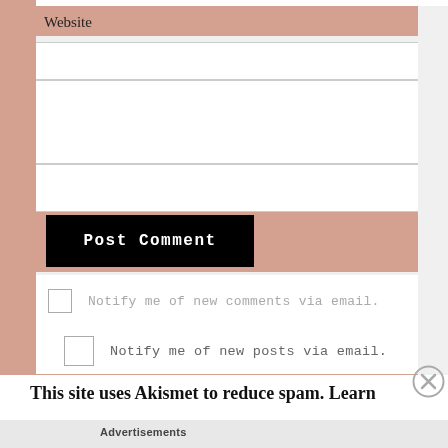Website
[Figure (screenshot): Web form with website label, two text input areas, a black 'Post Comment' button, two checkbox rows for email notifications, an Akismet spam notice, and an Advertisements label with a close button overlay]
Post Comment
Notify me of new comments via email.
Notify me of new posts via email.
This site uses Akismet to reduce spam. Learn
Advertisements